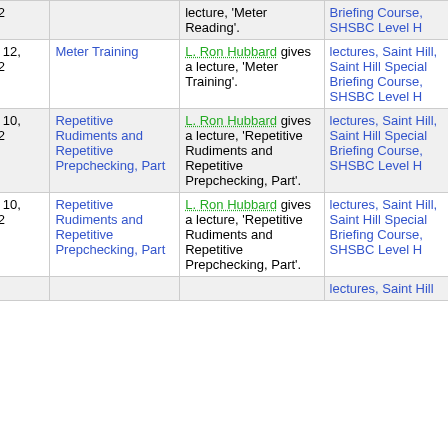| Date | Title | Description | Source |
| --- | --- | --- | --- |
| 1962 |  | lecture, 'Meter Reading'. | Briefing Course, SHSBC Level H |
| July 12, 1962 | Meter Training | L. Ron Hubbard gives a lecture, 'Meter Training'. | lectures, Saint Hill, Saint Hill Special Briefing Course, SHSBC Level H |
| July 10, 1962 | Repetitive Rudiments and Repetitive Prepchecking, Part | L. Ron Hubbard gives a lecture, 'Repetitive Rudiments and Repetitive Prepchecking, Part'. | lectures, Saint Hill, Saint Hill Special Briefing Course, SHSBC Level H |
| July 10, 1962 | Repetitive Rudiments and Repetitive Prepchecking, Part | L. Ron Hubbard gives a lecture, 'Repetitive Rudiments and Repetitive Prepchecking, Part'. | lectures, Saint Hill, Saint Hill Special Briefing Course, SHSBC Level H |
|  |  |  | lectures, Saint Hill |